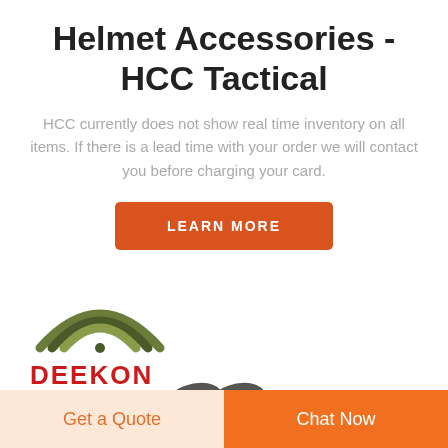Helmet Accessories - HCC Tactical
HCC currently does not show real time inventory on all items. If there is a lead time with your order we will contact you before charging your card.
[Figure (other): Orange button with text LEARN MORE]
[Figure (logo): Deekon brand logo with olive/camouflage arc design above bold red DEEKON text]
[Figure (photo): Partial image of a metal chain link visible at bottom center]
[Figure (other): Bottom navigation bar with two buttons: Get a Quote (light orange background) and Chat Now (orange background)]